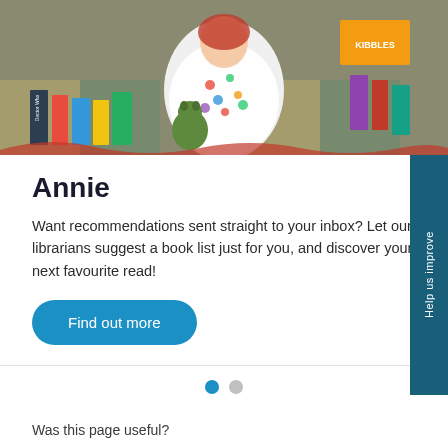[Figure (photo): Photo of a person in a colorful polka dot outfit sitting on a floor surrounded by books including Doctor Who and Kibbles titles]
Annie
Want recommendations sent straight to your inbox? Let our librarians suggest a book list just for you, and discover your next favourite read!
Find out more
[Figure (infographic): Carousel navigation dots: one filled blue (active) and one grey (inactive)]
Was this page useful?
[Figure (infographic): Yes/No feedback buttons: Yes with a green checkmark circle, No with a red X circle, both with labels below]